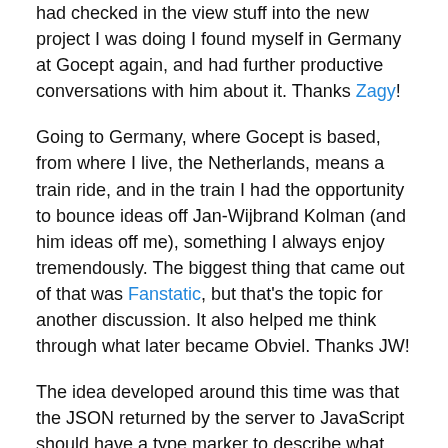had checked in the view stuff into the new project I was doing I found myself in Germany at Gocept again, and had further productive conversations with him about it. Thanks Zagy!
Going to Germany, where Gocept is based, from where I live, the Netherlands, means a train ride, and in the train I had the opportunity to bounce ideas off Jan-Wijbrand Kolman (and him ideas off me), something I always enjoy tremendously. The biggest thing that came out of that was Fanstatic, but that's the topic for another discussion. It also helped me think through what later became Obviel. Thanks JW!
The idea developed around this time was that the JSON returned by the server to JavaScript should have a type marker to describe what kind of JSON we are dealing with then. In Obviel we call this type marker an iface, short for interface. On the client, we could then hook up views to ifaces. This way if the client is confronted with some